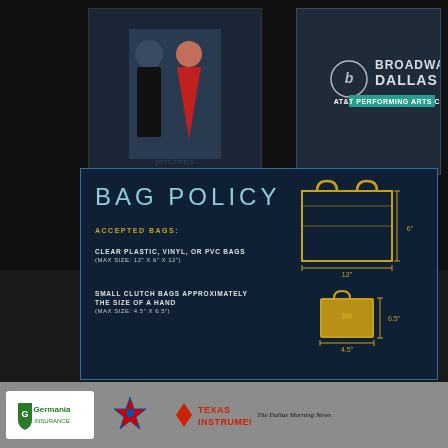[Figure (photo): Two performers on stage, man in tuxedo and woman in red dress]
[Figure (logo): Broadway Dallas logo with circular emblem and teal bar]
BAG POLICY
ACCEPTED BAGS:
CLEAR PLASTIC, VINYL, OR PVC BAGS (MAX SIZE: 12" x 6" x 12")
SMALL CLUTCH BAGS APPROXIMATELY THE SIZE OF A HAND (MAX SIZE: 4.5" x 6.5")
[Figure (infographic): Gold outline of large clear tote bag with dimensions 12" wide x 6" height, and small gold clutch bag with dimensions 4.5" wide x 6.5" height]
[Figure (logo): Germania Insurance logo]
[Figure (logo): Sponsor logo with star/compass design]
[Figure (logo): Texas Instruments logo with diamond shape]
The Dallas Morning News
[Figure (logo): Blue arrow/play button logo]